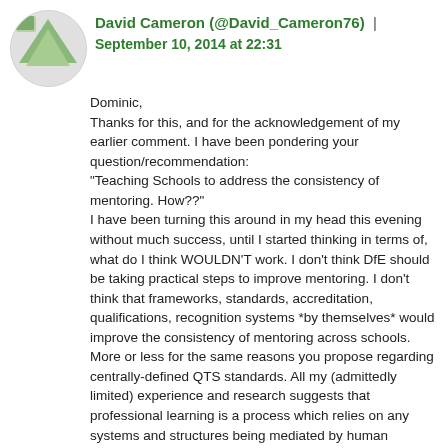David Cameron (@David_Cameron76) | September 10, 2014 at 22:31
Dominic,
Thanks for this, and for the acknowledgement of my earlier comment. I have been pondering your question/recommendation:
"Teaching Schools to address the consistency of mentoring. How??"
I have been turning this around in my head this evening without much success, until I started thinking in terms of, what do I think WOULDN'T work. I don't think DfE should be taking practical steps to improve mentoring. I don't think that frameworks, standards, accreditation, qualifications, recognition systems *by themselves* would improve the consistency of mentoring across schools. More or less for the same reasons you propose regarding centrally-defined QTS standards. All my (admittedly limited) experience and research suggests that professional learning is a process which relies on any systems and structures being mediated by human relationships to be really effective. In that I agree with Carl Bereuter that...